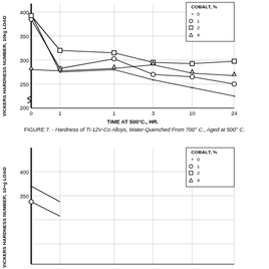[Figure (line-chart): Hardness of Ti-12V-Co Alloys, Water-Quenched From 700°C., Aged at 500°C.]
FIGURE 7. - Hardness of Ti-12V-Co Alloys, Water-Quenched From 700°C., Aged at 500°C.
[Figure (line-chart): Second chart (partial)]